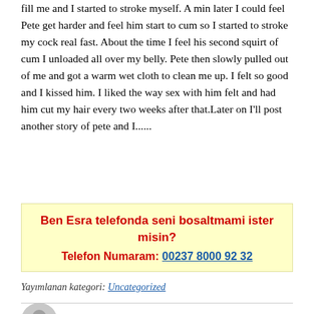fill me and I started to stroke myself. A min later I could feel Pete get harder and feel him start to cum so I started to stroke my cock real fast. About the time I feel his second squirt of cum I unloaded all over my belly. Pete then slowly pulled out of me and got a warm wet cloth to clean me up. I felt so good and I kissed him. I liked the way sex with him felt and had him cut my hair every two weeks after that.Later on I'll post another story of pete and I......
[Figure (infographic): Yellow highlighted advertisement box with red bold text: 'Ben Esra telefonda seni bosaltmami ister misin?' and 'Telefon Numaram: 00237 8000 92 32' with phone number in blue underlined link]
Yayımlanan kategori: Uncategorized
[Figure (illustration): Gray avatar/profile silhouette circle icon]
admin